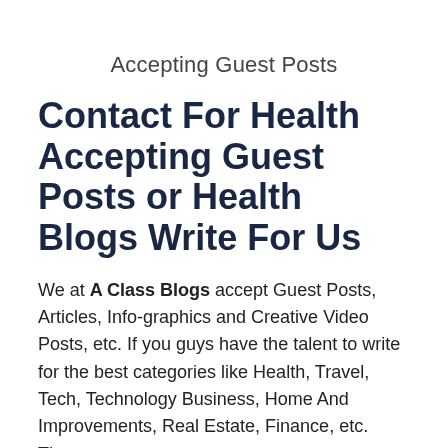Accepting Guest Posts
Contact For Health Accepting Guest Posts or Health Blogs Write For Us
We at A Class Blogs accept Guest Posts, Articles, Info-graphics and Creative Video Posts, etc. If you guys have the talent to write for the best categories like Health, Travel, Tech, Technology Business, Home And Improvements, Real Estate, Finance, etc. Then